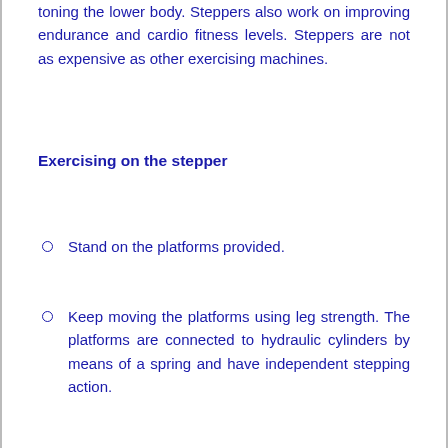toning the lower body. Steppers also work on improving endurance and cardio fitness levels. Steppers are not as expensive as other exercising machines.
Exercising on the stepper
Stand on the platforms provided.
Keep moving the platforms using leg strength. The platforms are connected to hydraulic cylinders by means of a spring and have independent stepping action.